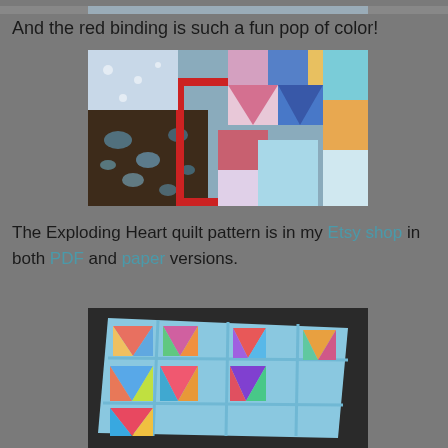[Figure (photo): Partial view of a quilt at the very top of the page (cropped)]
And the red binding is such a fun pop of color!
[Figure (photo): Colorful patchwork quilt showing an Exploding Heart pattern with red binding, multiple fabric prints in blues, reds, pinks, yellows, and greens. The quilt is photographed from above at a slight angle.]
The Exploding Heart quilt pattern is in my Etsy shop in both PDF and paper versions.
[Figure (photo): Light blue quilt showing Exploding Heart pattern with colorful triangular pieces, photographed from above on a dark surface.]